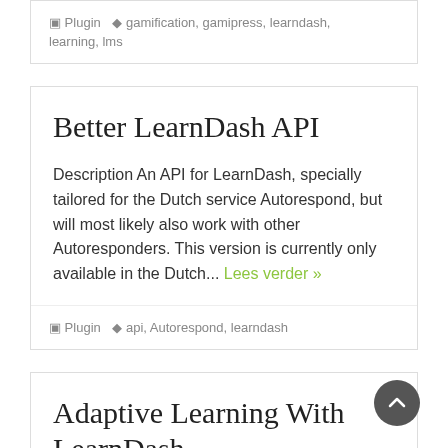Plugin  gamification, gamipress, learndash, learning, lms
Better LearnDash API
Description An API for LearnDash, specially tailored for the Dutch service Autorespond, but will most likely also work with other Autoresponders. This version is currently only available in the Dutch... Lees verder »
Plugin  api, Autorespond, learndash
Adaptive Learning With LearnDash